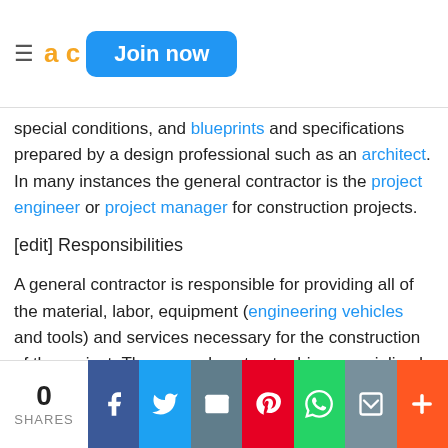≡ ad [Join now button]
special conditions, and blueprints and specifications prepared by a design professional such as an architect. In many instances the general contractor is the project engineer or project manager for construction projects.
[edit] Responsibilities
A general contractor is responsible for providing all of the material, labor, equipment (engineering vehicles and tools) and services necessary for the construction of the project. The general contractor hires specialized subcontractors to perform all or portions of the construction work.
Responsibilities may include applying for building permits, securing the property, providing temporary
0 SHARES | Facebook | Twitter | Email | Pinterest | WhatsApp | Print | More